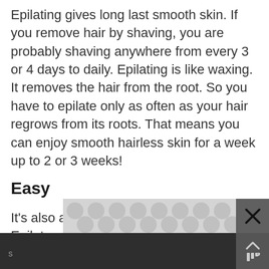Epilating gives long last smooth skin. If you remove hair by shaving, you are probably shaving anywhere from every 3 or 4 days to daily. Epilating is like waxing. It removes the hair from the root. So you have to epilate only as often as your hair regrows from its roots. That means you can enjoy smooth hairless skin for a week up to 2 or 3 weeks!
Easy
It's also as easy as shaving, if not easier. Epilators come in many features, from cordless to rechargable to waterproof to vibrating heads that numb your skin. There is no nicking you
[Figure (other): Bottom overlay with dark bar, advertisement banner with circular pattern, close button with X, and scroll-up arrow button]